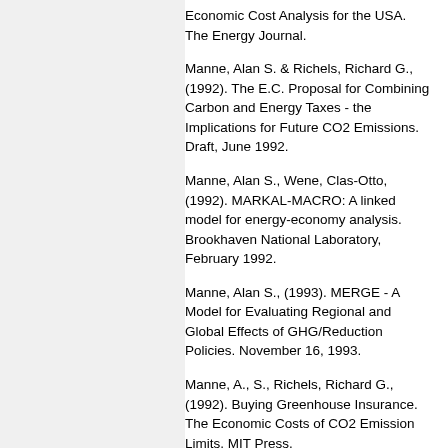Economic Cost Analysis for the USA. The Energy Journal.
Manne, Alan S. & Richels, Richard G., (1992). The E.C. Proposal for Combining Carbon and Energy Taxes - the Implications for Future CO2 Emissions. Draft, June 1992.
Manne, Alan S., Wene, Clas-Otto, (1992). MARKAL-MACRO: A linked model for energy-economy analysis. Brookhaven National Laboratory, February 1992.
Manne, Alan S., (1993). MERGE - A Model for Evaluating Regional and Global Effects of GHG/Reduction Policies. November 16, 1993.
Manne, A., S., Richels, Richard G., (1992). Buying Greenhouse Insurance. The Economic Costs of CO2 Emission Limits. MIT Press.
Meyer, Niels I., and Nielsen, Per S. (1991). Global collaboration on a sustainable energy development, Technical University of Denmark, Snekkersten, Denmark 25-28 April 1991.
Miljøministerier. (1995). Environmental satelite models for ADAM. NERI Technical Report No. 148.
Morthorst, Poul Erik. (1993). The cost of CO2 reduction in